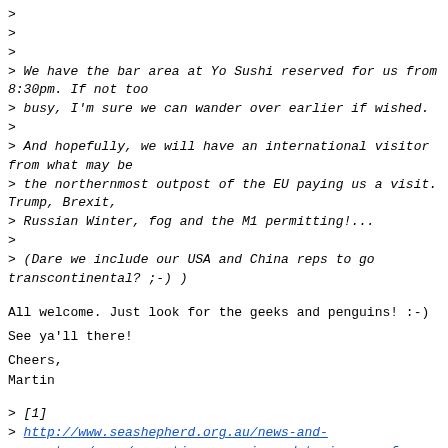>
>
>
> We have the bar area at Yo Sushi reserved for us from 8:30pm. If not too
> busy, I'm sure we can wander over earlier if wished.
>
> And hopefully, we will have an international visitor from what may be
> the northernmost outpost of the EU paying us a visit. Trump, Brexit,
> Russian Winter, fog and the M1 permitting!...
>
> (Dare we include our USA and China reps to go transcontinental? ;-) )
All welcome. Just look for the geeks and penguins! :-)
See ya'll there!
Cheers,
Martin
> [1]
> http://www.seashepherd.org.au/news-and-commentary/news/operation-nemesis-update-images-of-japanese-poachers-caught-with-dead-whale-go-viral.html
>